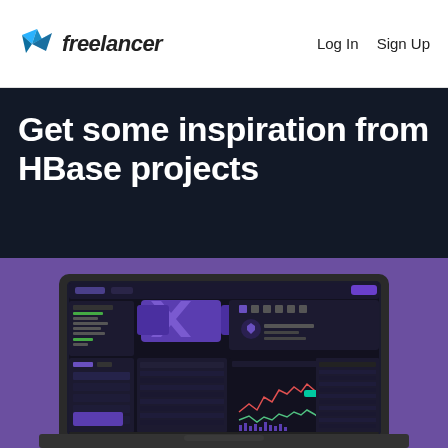freelancer  Log In  Sign Up
Get some inspiration from HBase projects
[Figure (screenshot): A laptop displaying a dark-themed trading/dashboard UI with purple accents, charts, and data tables, shown against a purple background.]